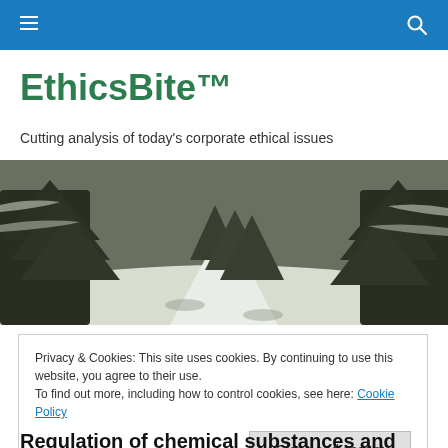EthicsBite™ site navigation header
EthicsBite™
Cutting analysis of today's corporate ethical issues
[Figure (photo): Winter forest scene with snow-covered path and evergreen trees]
Privacy & Cookies: This site uses cookies. By continuing to use this website, you agree to their use.
To find out more, including how to control cookies, see here: Cookie Policy
Close and accept
Regulation of chemical substances and beyond...